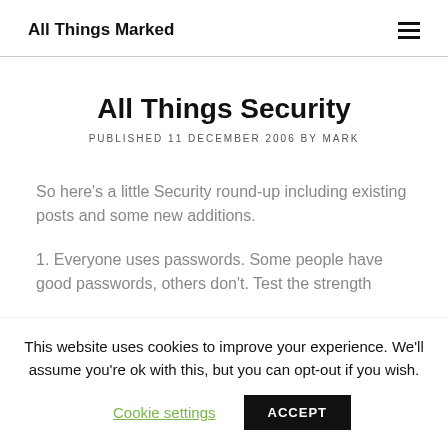All Things Marked
All Things Security
PUBLISHED 11 DECEMBER 2006 BY MARK
So here's a little Security round-up including existing posts and some new additions.
1. Everyone uses passwords. Some people have good passwords, others don't. Test the strength
This website uses cookies to improve your experience. We'll assume you're ok with this, but you can opt-out if you wish.
Cookie settings   ACCEPT